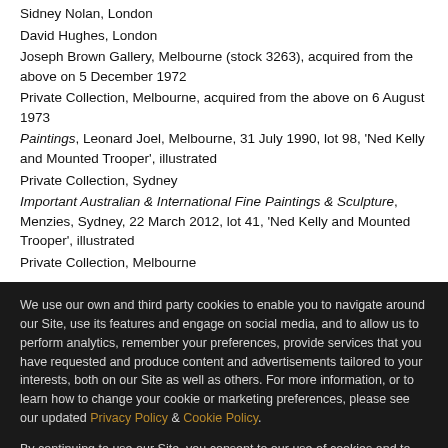Sidney Nolan, London
David Hughes, London
Joseph Brown Gallery, Melbourne (stock 3263), acquired from the above on 5 December 1972
Private Collection, Melbourne, acquired from the above on 6 August 1973
Paintings, Leonard Joel, Melbourne, 31 July 1990, lot 98, 'Ned Kelly and Mounted Trooper', illustrated
Private Collection, Sydney
Important Australian & International Fine Paintings & Sculpture, Menzies, Sydney, 22 March 2012, lot 41, 'Ned Kelly and Mounted Trooper', illustrated
Private Collection, Melbourne
We use our own and third party cookies to enable you to navigate around our Site, use its features and engage on social media, and to allow us to perform analytics, remember your preferences, provide services that you have requested and produce content and advertisements tailored to your interests, both on our Site as well as others. For more information, or to learn how to change your cookie or marketing preferences, please see our updated Privacy Policy & Cookie Policy.
By continuing to use our Site, you consent to our use of cookies and to the practices described in our updated Privacy Policy.
CONTINUE